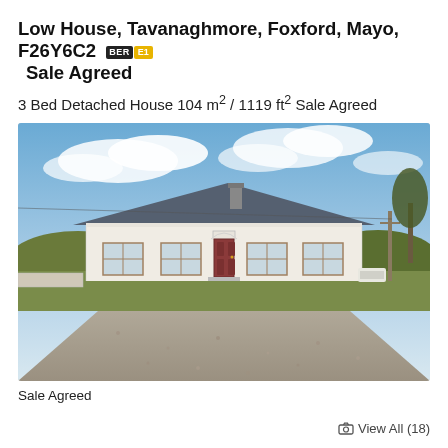Low House, Tavanaghmore, Foxford, Mayo, F26Y6C2 [BER E1]   Sale Agreed
3 Bed Detached House 104 m² / 1119 ft² Sale Agreed
[Figure (photo): Exterior photo of a single-storey white rendered detached cottage with a dark slate roof, central red front door with arched porch detail, chimney, two windows on each side of the door, set in a large gravel/grass forecourt with hedges and trees in the background under a partly cloudy blue sky.]
Sale Agreed
View All (18)